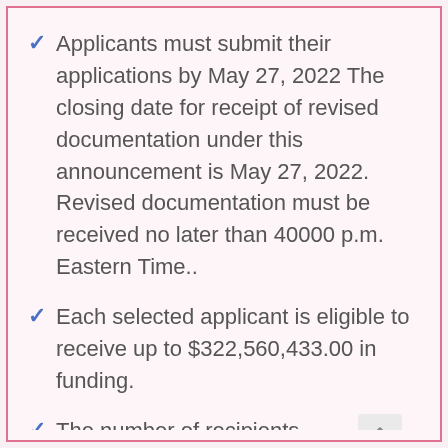Applicants must submit their applications by May 27, 2022 The closing date for receipt of revised documentation under this announcement is May 27, 2022. Revised documentation must be received no later than 40000 p.m. Eastern Time..
Each selected applicant is eligible to receive up to $322,560,433.00 in funding.
The number of recipients